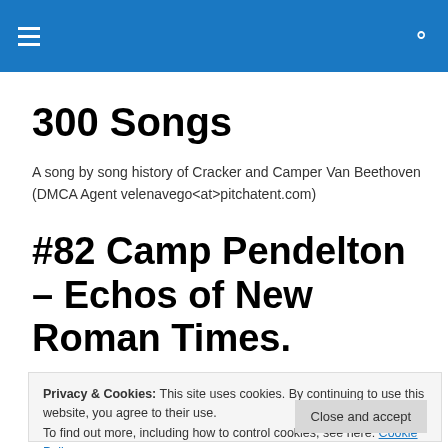300 Songs (navigation header bar)
300 Songs
A song by song history of Cracker and Camper Van Beethoven (DMCA Agent velenavego<at>pitchatent.com)
#82 Camp Pendelton – Echos of New Roman Times.
Privacy & Cookies: This site uses cookies. By continuing to use this website, you agree to their use. To find out more, including how to control cookies, see here: Cookie Policy